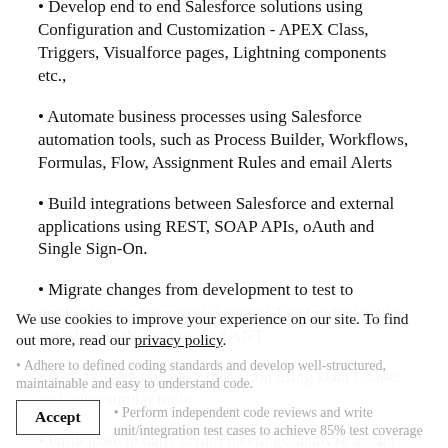Develop end to end Salesforce solutions using Configuration and Customization - APEX Class, Triggers, Visualforce pages, Lightning components etc.,
Automate business processes using Salesforce automation tools, such as Process Builder, Workflows, Formulas, Flow, Assignment Rules and email Alerts
Build integrations between Salesforce and external applications using REST, SOAP APIs, oAuth and Single Sign-On.
Migrate changes from development to test to production environment(s) using CI technologies like Salesforce DX, Jenkins and ANT
Perform data updates / migration using Data Loader and other similar tools
Participate in daily scrum meetings, analyze assign user stories, identify/resolve gaps in functional user stories/business requirements
Adhere to defined coding standards and develop well-structured, maintainable and easy to understand code.
Perform independent code reviews and write unit/integration test cases to achieve 85% test coverage
We use cookies to improve your experience on our site. To find out more, read our privacy policy.